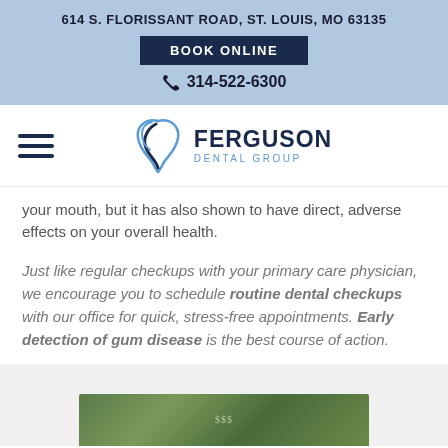614 S. FLORISSANT ROAD, ST. LOUIS, MO 63135
BOOK ONLINE
314-522-6300
[Figure (logo): Ferguson Dental Group logo with stylized tooth/swirl icon in navy blue and light blue]
your mouth, but it has also shown to have direct, adverse effects on your overall health.
Just like regular checkups with your primary care physician, we encourage you to schedule routine dental checkups with our office for quick, stress-free appointments. Early detection of gum disease is the best course of action.
[Figure (photo): Partial image of US dollar bills at the bottom of the page]